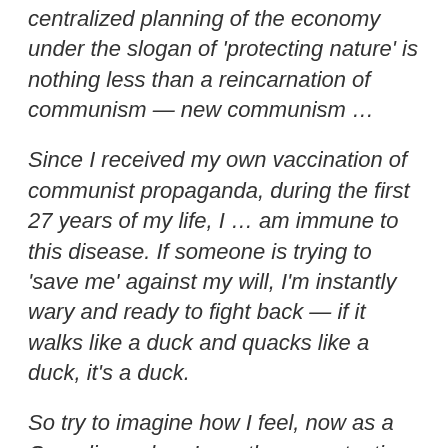centralized planning of the economy under the slogan of 'protecting nature' is nothing less than a reincarnation of communism — new communism …
Since I received my own vaccination of communist propaganda, during the first 27 years of my life, I … am immune to this disease. If someone is trying to 'save me' against my will, I'm instantly wary and ready to fight back — if it walks like a duck and quacks like a duck, it's a duck.
So try to imagine how I feel, now as a Canadian, when I see the same tactics and hear the same phrases I saw and heard for years under